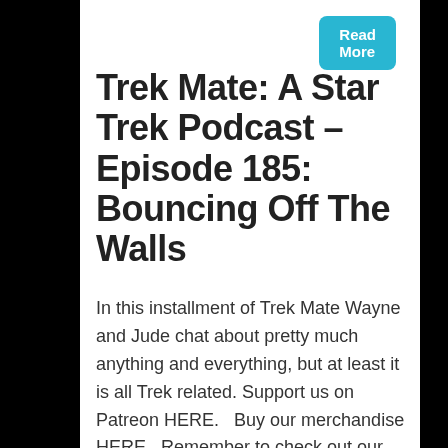Read More
Trek Mate: A Star Trek Podcast – Episode 185: Bouncing Off The Walls
In this installment of Trek Mate Wayne and Jude chat about pretty much anything and everything, but at least it is all Trek related. Support us on Patreon HERE.   Buy our merchandise HERE.  Remember to check out our weekly YouTube exclusive episode reviews and other videos on our